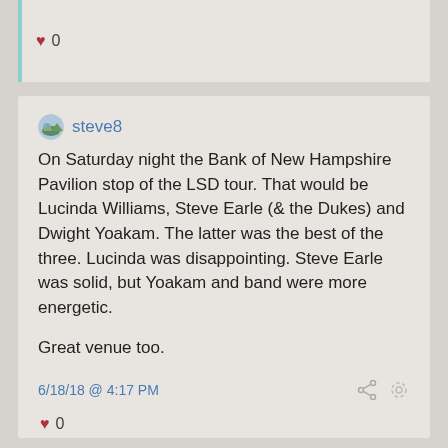♥ 0
steve8
On Saturday night the Bank of New Hampshire Pavilion stop of the LSD tour. That would be Lucinda Williams, Steve Earle (& the Dukes) and Dwight Yoakam. The latter was the best of the three. Lucinda was disappointing. Steve Earle was solid, but Yoakam and band were more energetic.
Great venue too.
6/18/18 @ 4:17 PM
♥ 0